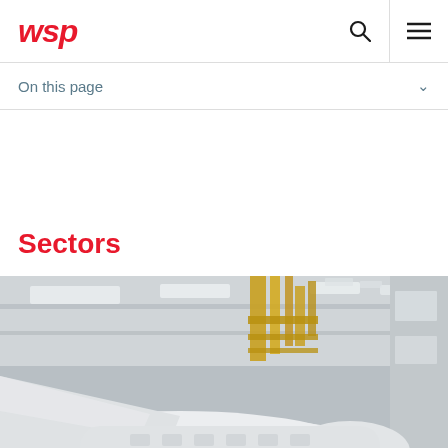wsp
On this page
Sectors
[Figure (photo): Interior of an aircraft hangar showing the underside of a white aircraft with yellow structural supports and overhead lighting]